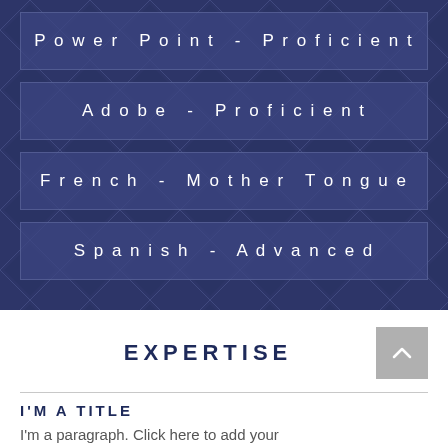Power Point - Proficient
Adobe - Proficient
French - Mother Tongue
Spanish - Advanced
EXPERTISE
I'M A TITLE
I'm a paragraph. Click here to add your